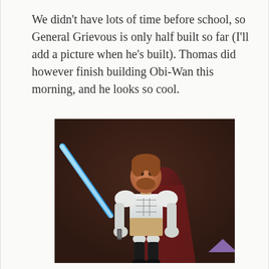We didn't have lots of time before school, so General Grievous is only half built so far (I'll add a picture when he's built). Thomas did however finish building Obi-Wan this morning, and he looks so cool.
[Figure (photo): A LEGO buildable figure of Obi-Wan Kenobi holding a blue lightsaber, positioned against a dark brown leather background. The figure has a realistic face print, white and tan armor, a dark red cape, and black legs.]